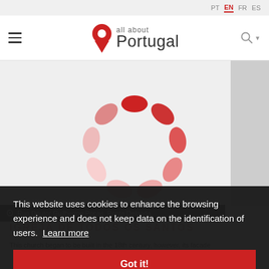PT EN FR ES
[Figure (logo): All about Portugal logo with red map pin icon and text 'all about Portugal']
[Figure (photo): Loading spinner (red oval dots in circular arrangement) on light background - image loading state]
Rua Doutor Guilherme Poças, Ponta Delgada
IGREJA DE TODOS OS SANTOS
This church began to be built in the 18th century, however, its facade... of the Jesuits. Al...
This website uses cookies to enhance the browsing experience and does not keep data on the identification of users. Learn more
Got it!